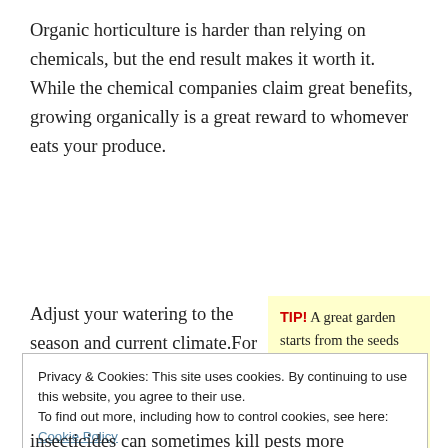Organic horticulture is harder than relying on chemicals, but the end result makes it worth it. While the chemical companies claim great benefits, growing organically is a great reward to whomever eats your produce.
Adjust your watering to the season and current climate.For instance, if you live in a humid climate where it never goes below 30 degrees
TIP! A great garden starts from the seeds and not from the plants. The environmentally conscious way to start a new garden is to start with seeds.
Privacy & Cookies: This site uses cookies. By continuing to use this website, you agree to their use.
To find out more, including how to control cookies, see here: Cookie Policy
insecticides can sometimes kill pests more